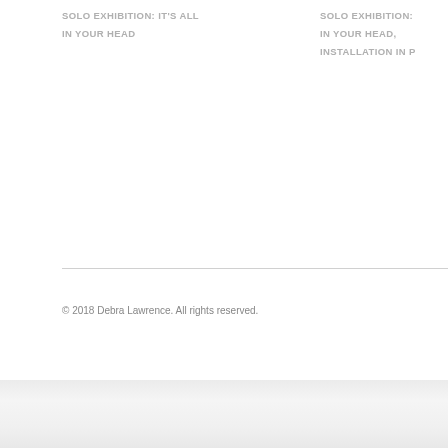SOLO EXHIBITION: IT'S ALL IN YOUR HEAD
SOLO EXHIBITION: IN YOUR HEAD, INSTALLATION IN P
© 2018 Debra Lawrence. All rights reserved.